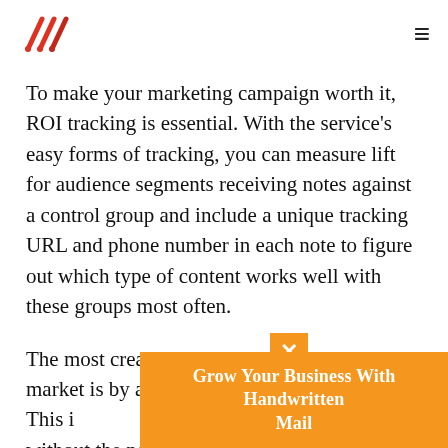[Logo] [Hamburger menu]
To make your marketing campaign worth it, ROI tracking is essential. With the service's easy forms of tracking, you can measure lift for audience segments receiving notes against a control group and include a unique tracking URL and phone number in each note to figure out which type of content works well with these groups most often.
The most creative and innovative way to market is by adding a QR code sticker or custo[m...] This i[s...] y without the need for any work on your end!
[Figure (infographic): Orange popup banner with close (x) button reading 'Grow Your Business With Handwritten Mail']